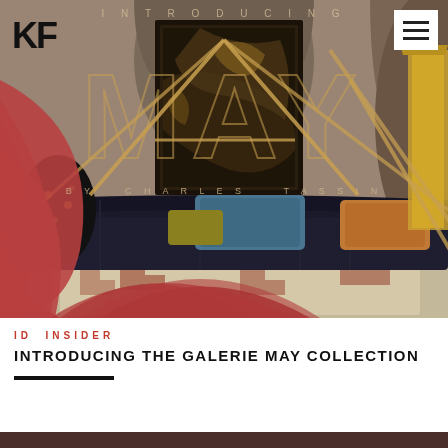[Figure (photo): Hero image of a luxury interior with a dark velvet sofa, colorful cushions, a decorative lamp, a large dark framed painting on the wall, and a patterned rug. Overlaid with graphic text 'INTRODUCING MAY BY CHARLES TASSIN' and geometric gold lines forming an 'A' shape. A KF logo and hamburger menu are in the top corners. Red/terracotta teardrop shapes overlay the left and bottom of the image.]
ID INSIDER
INTRODUCING THE GALERIE MAY COLLECTION